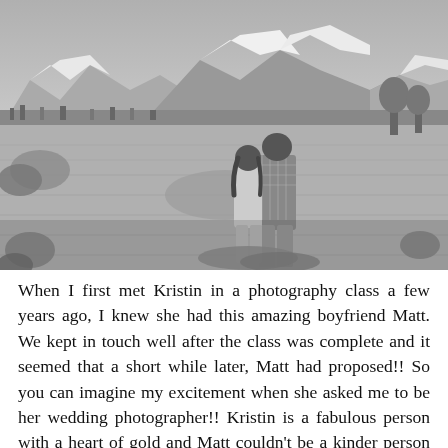[Figure (photo): Black and white photograph of a couple standing in a large open meadow with tall grass, viewed from behind, with snow-capped mountains in the background. The man has his arm around the woman.]
When I first met Kristin in a photography class a few years ago, I knew she had this amazing boyfriend Matt. We kept in touch well after the class was complete and it seemed that a short while later, Matt had proposed!! So you can imagine my excitement when she asked me to be her wedding photographer!! Kristin is a fabulous person with a heart of gold and Matt couldn't be a kinder person with a